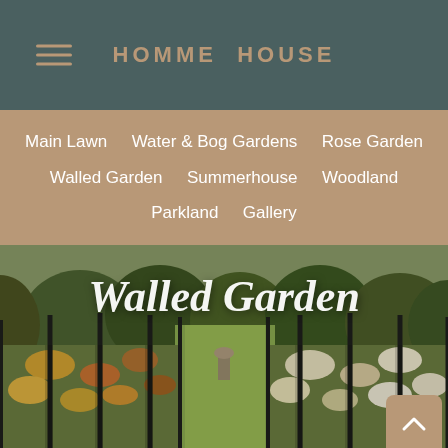HOMME HOUSE
Main Lawn
Water & Bog Gardens
Rose Garden
Walled Garden
Summerhouse
Woodland
Parkland
Gallery
[Figure (photo): Garden photo with text overlay 'Walled Garden' in white italic script, showing a walled garden viewed through iron railings with lush green lawn, flower borders, and trees in background.]